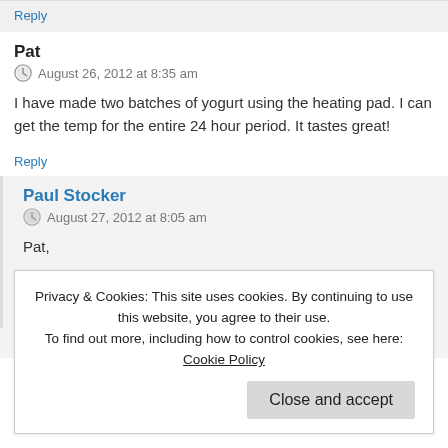Reply
Pat
August 26, 2012 at 8:35 am
I have made two batches of yogurt using the heating pad. I can get the temp for the entire 24 hour period. It tastes great!
Reply
Paul Stocker
August 27, 2012 at 8:05 am
Pat,
Thanks for the input. It's great to know many different methods.
Privacy & Cookies: This site uses cookies. By continuing to use this website, you agree to their use.
To find out more, including how to control cookies, see here: Cookie Policy
Close and accept
December 27, 2011 at 8:41 pm